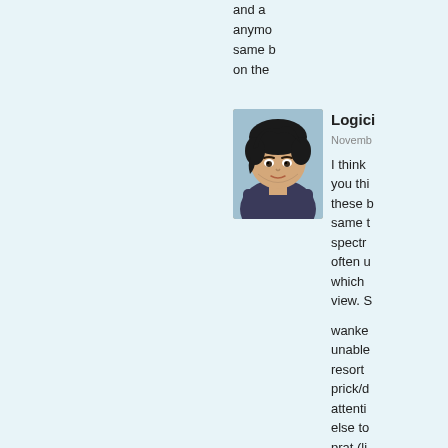and a anymore same b on the
[Figure (illustration): Anime-style avatar of a young male character with black hair wearing a dark jacket, used as a forum profile picture.]
Logici
Novemb

I think you thi these t same t spectr often u which view. S

wanke unable resort prick/d attenti else to prat (li bastar behav no sta conga treatm

Or am